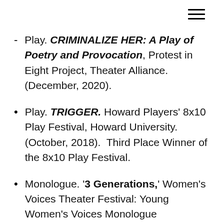Play. CRIMINALIZE HER: A Play of Poetry and Provocation, Protest in Eight Project, Theater Alliance. (December, 2020).
Play. TRIGGER. Howard Players' 8x10 Play Festival, Howard University. (October, 2018).  Third Place Winner of the 8x10 Play Festival.
Monologue. '3 Generations,' Women's Voices Theater Festival: Young Women's Voices Monologue Competition, John F. Kennedy Center for the Performing Arts. (February